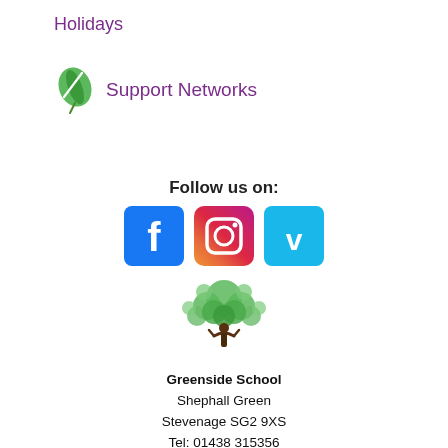Holidays
[Figure (logo): Green leaf icon next to 'Support Networks' text in purple]
Follow us on:
[Figure (logo): Social media icons: Facebook (blue), Instagram (gradient), Vimeo (light blue)]
[Figure (logo): Greenside School logo: green tree with person figure, text 'Greenside School Learning Achieving Together']
Greenside School
Shephall Green
Stevenage SG2 9XS
Tel: 01438 315356
Fax: 01438 748034
Email: admin@greenside.herts.sch.uk